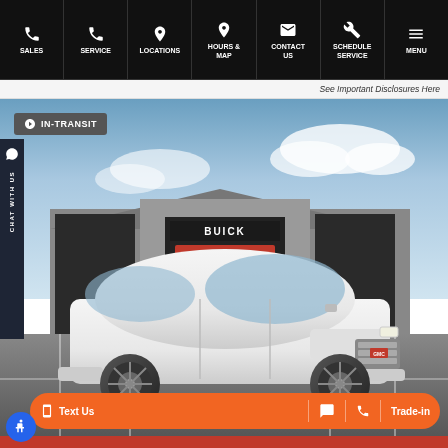SALES | SERVICE | LOCATIONS | HOURS & MAP | CONTACT US | SCHEDULE SERVICE | MENU
See Important Disclosures Here
[Figure (photo): White GMC Acadia SUV parked in front of a Buick GMC dealership building with cloudy sky background. An 'IN-TRANSIT' badge appears in the top left corner. A 'CHAT WITH US' sidebar appears on the left side. A bottom action bar shows 'Text Us', chat icon, phone icon, and 'Trade-in' buttons in orange.]